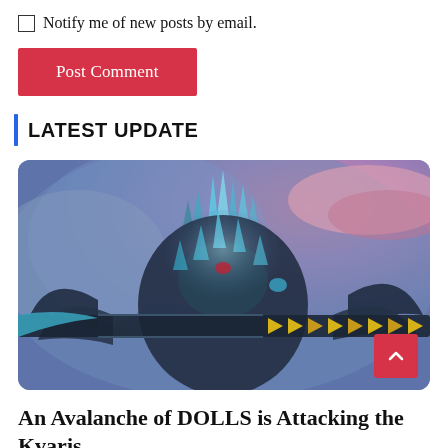Notify me of new posts by email.
Post Comment
LATEST UPDATE
[Figure (screenshot): Screenshot from a video game showing a dark armored creature with teal/blue crystal spikes and a glowing yellow-and-dark weapon staff, set against a stormy purple and pink sky background.]
An Avalanche of DOLLS is Attacking the Kvaris Mining Place